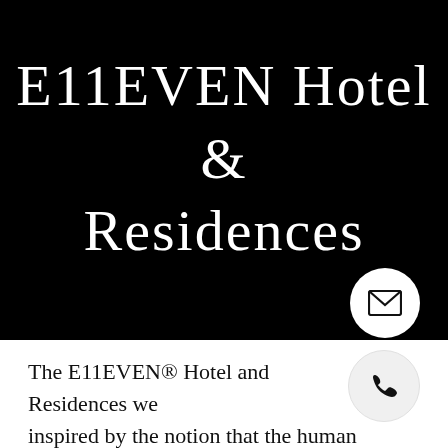E11EVEN Hotel & Residences
[Figure (other): White envelope icon inside a white circle button on black background]
[Figure (other): Black phone handset icon inside a light grey circle button on white background]
The E11EVEN® Hotel and Residences we inspired by the notion that the human condition is variable, often shifting based on